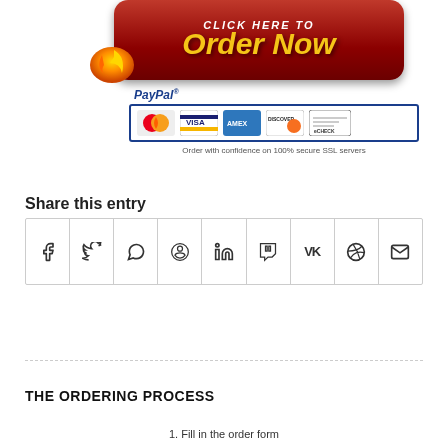[Figure (screenshot): Order Now button with PayPal payment options including MasterCard, Visa, Amex, Discover, and eCheck, with SSL security notice]
Share this entry
[Figure (infographic): Social share icons row: Facebook, Twitter, WhatsApp, Pinterest, LinkedIn, Tumblr, VK, Reddit, Email]
THE ORDERING PROCESS
1. Fill in the order form